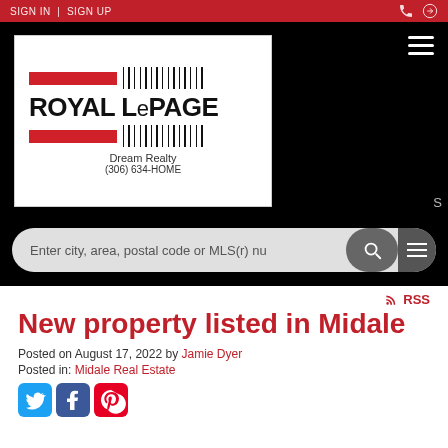SIGN IN | SIGN UP
[Figure (logo): Royal LePage Dream Realty logo with barcode design, (306) 634-HOME]
Enter city, area, postal code or MLS(r) nu
RSS
New property listed in Midale
Posted on August 17, 2022 by Jamie Dyer
Posted in: Midale Real Estate
[Figure (illustration): Social media sharing icons: Twitter, Facebook, Pinterest]